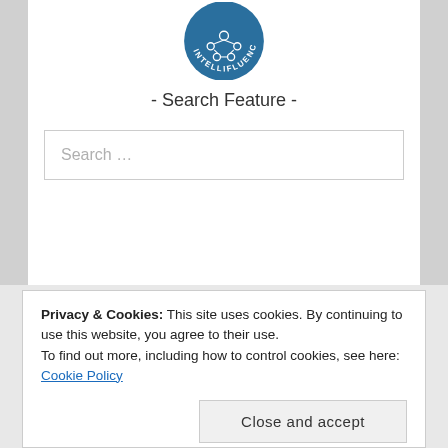[Figure (logo): Intellifluence circular badge logo in dark teal/blue with network icon and text around the border]
- Search Feature -
Search …
Testimonial
Privacy & Cookies: This site uses cookies. By continuing to use this website, you agree to their use.
To find out more, including how to control cookies, see here: Cookie Policy
Close and accept
JanelAnn Divinagracia, Iloilo City Tourism Officer